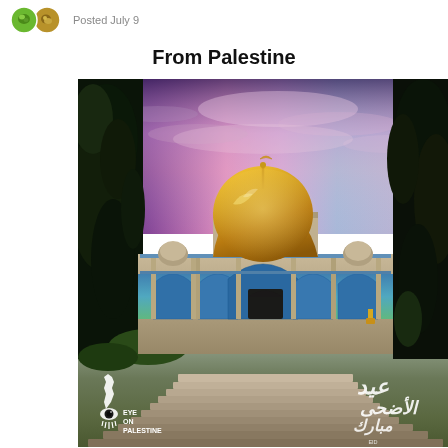Posted July 9
From Palestine
[Figure (photo): Photo of the Dome of the Rock (Masjid Al-Aqsa) in Jerusalem/Palestine at dusk with a dramatic purple and pink sky. The golden dome is prominently featured in the center, with the ornate blue-tiled walls and arches of the mosque below. Trees flank both sides. The 'Eye on Palestine' logo appears in the lower left corner, and Arabic text with 'EID ADHA MUBARAK' appears in the lower right corner.]